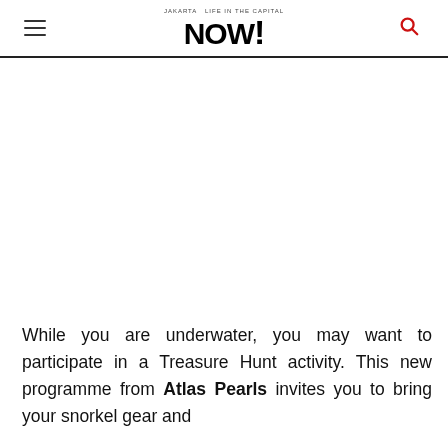JAKARTA LIFE IN THE CAPITAL NOW!
[Figure (photo): Large image area (blank/white) occupying the main body of the page below the header navigation]
While you are underwater, you may want to participate in a Treasure Hunt activity. This new programme from Atlas Pearls invites you to bring your snorkel gear and